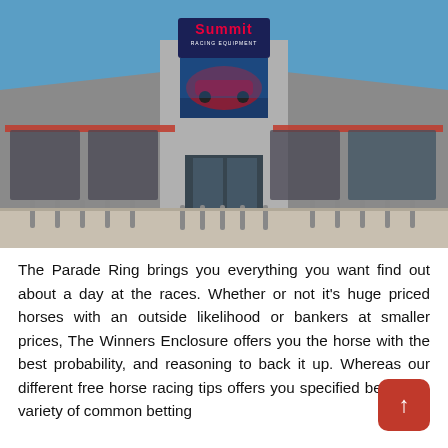[Figure (photo): Exterior photograph of Summit Racing Equipment store building with large sign and mural on front facade, glass windows, bollards in parking lot, under clear blue sky.]
The Parade Ring brings you everything you want find out about a day at the races. Whether or not it's huge priced horses with an outside likelihood or bankers at smaller prices, The Winners Enclosure offers you the horse with the best probability, and reasoning to back it up. Whereas our different free horse racing tips offers you specified bets for a variety of common betting